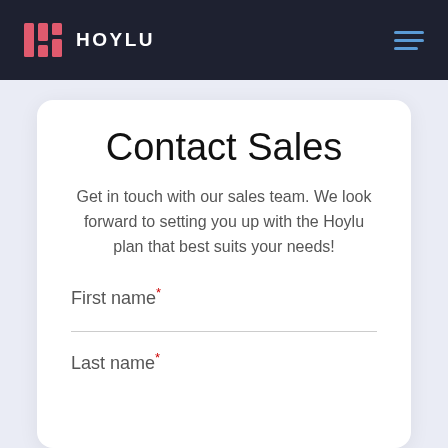HOYLU
Contact Sales
Get in touch with our sales team. We look forward to setting you up with the Hoylu plan that best suits your needs!
First name*
Last name*